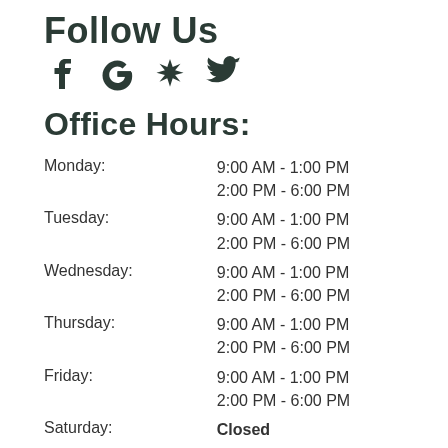Follow Us
[Figure (illustration): Social media icons: Facebook (f), Google (G), Yelp (star/flower), Twitter (bird)]
Office Hours:
| Day | Hours |
| --- | --- |
| Monday: | 9:00 AM - 1:00 PM
2:00 PM - 6:00 PM |
| Tuesday: | 9:00 AM - 1:00 PM
2:00 PM - 6:00 PM |
| Wednesday: | 9:00 AM - 1:00 PM
2:00 PM - 6:00 PM |
| Thursday: | 9:00 AM - 1:00 PM
2:00 PM - 6:00 PM |
| Friday: | 9:00 AM - 1:00 PM
2:00 PM - 6:00 PM |
| Saturday: | Closed |